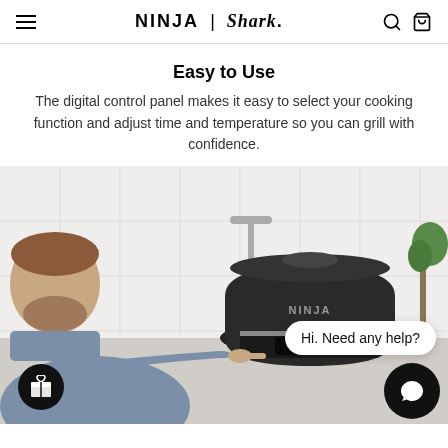NINJA | Shark
Easy to Use
The digital control panel makes it easy to select your cooking function and adjust time and temperature so you can grill with confidence.
[Figure (photo): A man using a Ninja indoor grill on a kitchen counter, pointing at the digital control panel. A chat bubble reads 'Hi. Need any help?' A gift icon button and a chat icon button are overlaid on the image.]